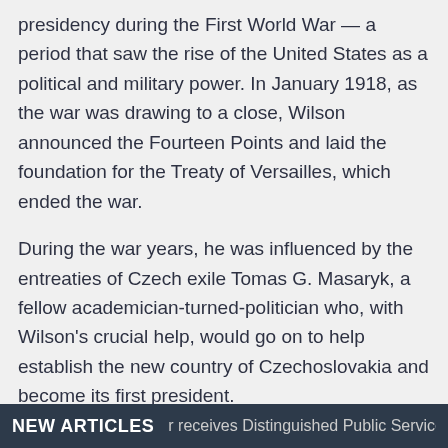presidency during the First World War — a period that saw the rise of the United States as a political and military power. In January 1918, as the war was drawing to a close, Wilson announced the Fourteen Points and laid the foundation for the Treaty of Versailles, which ended the war.
During the war years, he was influenced by the entreaties of Czech exile Tomas G. Masaryk, a fellow academician-turned-politician who, with Wilson's crucial help, would go on to help establish the new country of Czechoslovakia and become its first president.
Wilson is said to have been deeply moved when he learned that a document drafted by Masaryk and other leading figures to proclaim the right of the Czech and Slovak peoples to self-governance was modeled after the American Declaration of Independence.
NEW ARTICLES   r receives Distinguished Public Service Award